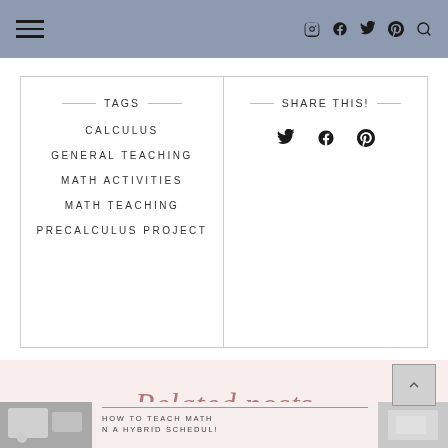Navigation header with hamburger menu and social icons (Instagram, Facebook, Twitter, Pinterest, Search)
TAGS
CALCULUS
GENERAL TEACHING
MATH ACTIVITIES
MATH TEACHING
PRECALCULUS PROJECT
SHARE THIS!
Related posts
HOW TO TEACH MATH N A HYBRID SCHEDUL!